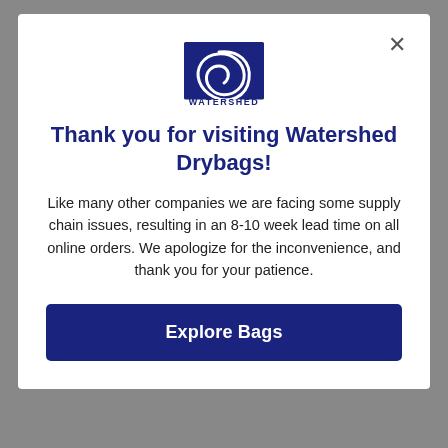[Figure (logo): Watershed Drybags logo — blue swirl graphic above the word WATERSHED in blue capital letters]
Thank you for visiting Watershed Drybags!
Like many other companies we are facing some supply chain issues, resulting in an 8-10 week lead time on all online orders. We apologize for the inconvenience, and thank you for your patience.
Explore Bags